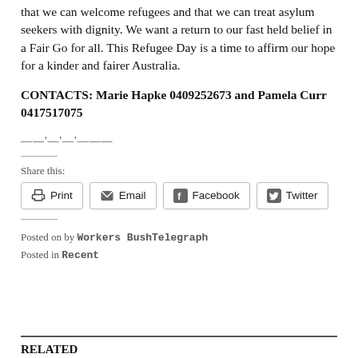that we can welcome refugees and that we can treat asylum seekers with dignity. We want a return to our fast held belief in a Fair Go for all. This Refugee Day is a time to affirm our hope for a kinder and fairer Australia.
CONTACTS: Marie Hapke 0409252673 and Pamela Curr 0417517075
——'—'—'———
Share this:
Print | Email | Facebook | Twitter
Posted on by Workers BushTelegraph
Posted in Recent
RELATED